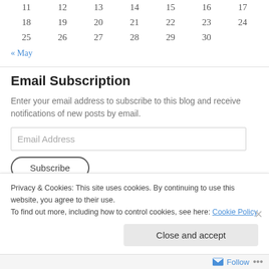| 11 | 12 | 13 | 14 | 15 | 16 | 17 |
| 18 | 19 | 20 | 21 | 22 | 23 | 24 |
| 25 | 26 | 27 | 28 | 29 | 30 |  |
« May
Email Subscription
Enter your email address to subscribe to this blog and receive notifications of new posts by email.
Email Address
Privacy & Cookies: This site uses cookies. By continuing to use this website, you agree to their use. To find out more, including how to control cookies, see here: Cookie Policy
Close and accept
Follow